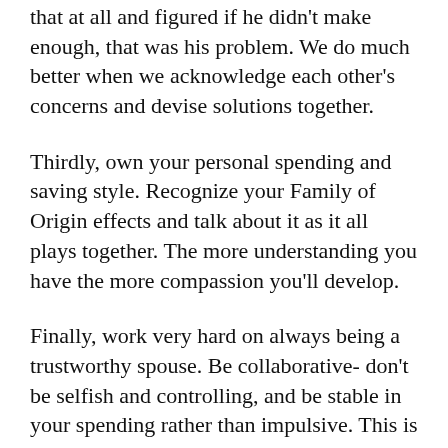that at all and figured if he didn't make enough, that was his problem. We do much better when we acknowledge each other's concerns and devise solutions together.
Thirdly, own your personal spending and saving style. Recognize your Family of Origin effects and talk about it as it all plays together. The more understanding you have the more compassion you'll develop.
Finally, work very hard on always being a trustworthy spouse. Be collaborative- don't be selfish and controlling, and be stable in your spending rather than impulsive. This is a huge help towards being more together in financial problem solving as a couple.